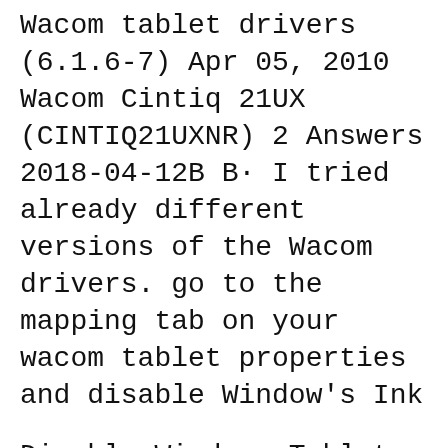Wacom tablet drivers (6.1.6-7) Apr 05, 2010 Wacom Cintiq 21UX (CINTIQ21UXNR) 2 Answers 2018-04-12В В· I tried already different versions of the Wacom drivers. go to the mapping tab on your wacom tablet properties and disable Window's Ink
Disable Windows Tablet PC Input Components. These components may interfere with the Wacom Cintiq driver software. Turn Off Google Instant; 2015-03-16В В· Table Driver was not Found, Wacom Tablet on Windows 7. and without manually uninstalling the previous driver, but starting with the driver вЂ¦